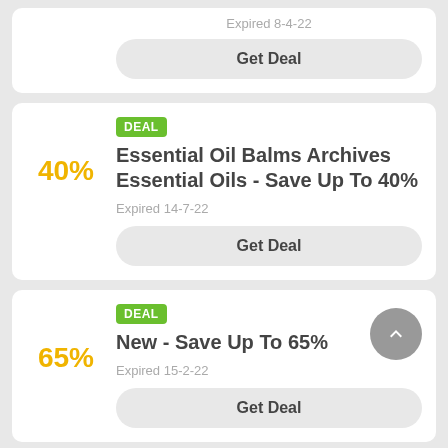Expired 8-4-22
Get Deal
DEAL
Essential Oil Balms Archives Essential Oils - Save Up To 40%
40%
Expired 14-7-22
Get Deal
DEAL
New - Save Up To 65%
65%
Expired 15-2-22
Get Deal